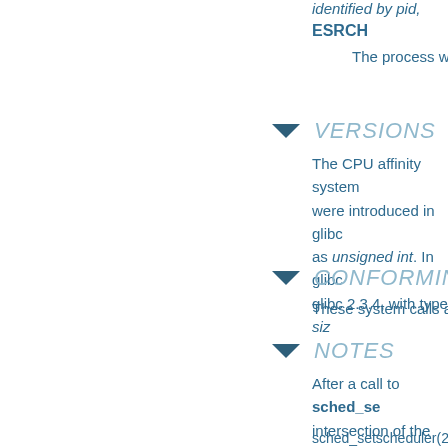ESRCH
    The process whose identity is identified by pid, ...
ESRCH
The process whos
VERSIONS
The CPU affinity system calls were introduced in glibc as unsigned int. In glibc glibc 2.3.4, with type siz
CONFORMING
These system calls are
NOTES
After a call to sched_se intersection of the set s the system. The system "cpuset" mechanism de of CPUs on which the p
sched_setscheduler(2